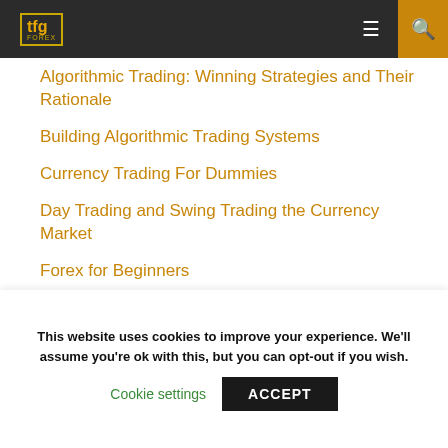tfg
Algorithmic Trading: Winning Strategies and Their Rationale
Building Algorithmic Trading Systems
Currency Trading For Dummies
Day Trading and Swing Trading the Currency Market
Forex for Beginners
Professional Automated Trading: Theory and Practice
Submit Video
This website uses cookies to improve your experience. We'll assume you're ok with this, but you can opt-out if you wish.
Cookie settings  ACCEPT